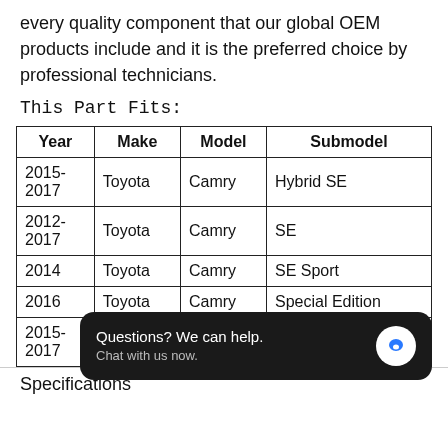every quality component that our global OEM products include and it is the preferred choice by professional technicians.
This Part Fits:
| Year | Make | Model | Submodel |
| --- | --- | --- | --- |
| 2015-2017 | Toyota | Camry | Hybrid SE |
| 2012-2017 | Toyota | Camry | SE |
| 2014 | Toyota | Camry | SE Sport |
| 2016 | Toyota | Camry | Special Edition |
| 2015-2017 | Toyota | Camry | XSE |
Specifications